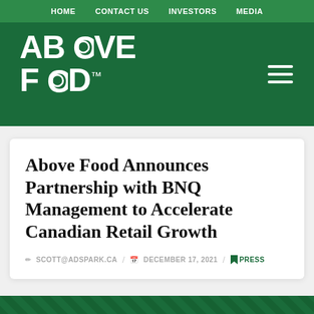HOME  CONTACT US  INVESTORS  MEDIA
[Figure (logo): Above Food logo in white text on dark green background with hamburger menu icon]
Above Food Announces Partnership with BNQ Management to Accelerate Canadian Retail Growth
SCOTT@ADSPARK.CA / DECEMBER 17, 2021 / PRESS